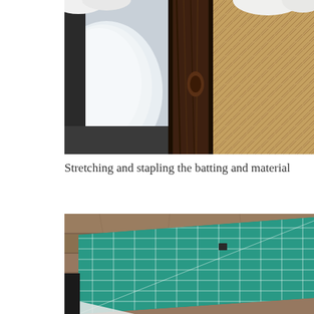[Figure (photo): Photo showing upholstery work in progress: white ceramic-looking curved surface on the left, a dark brown wooden post/leg in the center, and woven rattan/wicker material on the right, with white batting/fabric visible at the top.]
Stretching and stapling the batting and material
[Figure (photo): Photo showing a green self-healing cutting mat with white grid lines and measurement markings on a wooden floor surface, with some white batting/material visible at the bottom edge and a small dark object on the mat.]